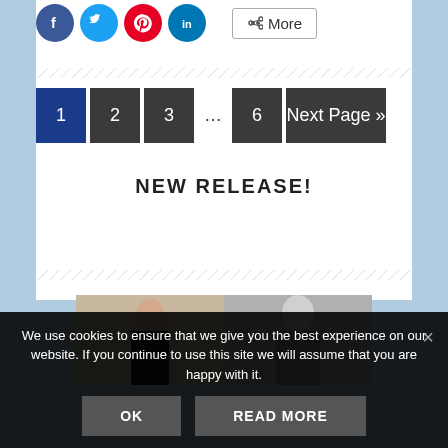[Figure (screenshot): Social share icons: Facebook (blue circle), Twitter (light blue circle), Pinterest (red circle), LinkedIn (blue circle), and a More button with share icon]
[Figure (other): Diagonal hatching separator line]
[Figure (other): Pagination navigation: buttons 1 (active, dark blue), 2, 3, ..., 6, Next Page »]
NEW RELEASE!
[Figure (other): Diagonal hatching separator line]
[Figure (photo): Photo of a woman in black top on left (color), and monochrome portrait on right]
We use cookies to ensure that we give you the best experience on our website. If you continue to use this site we will assume that you are happy with it.
[Figure (other): Cookie consent buttons: OK and READ MORE]